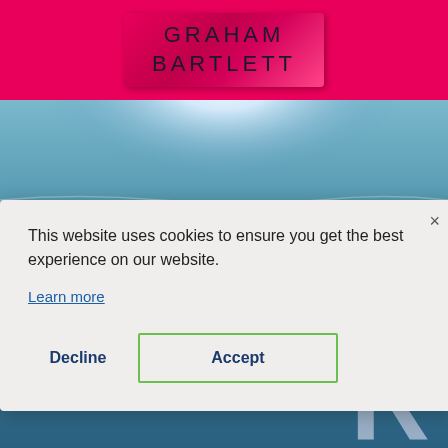[Figure (illustration): Book cover showing author name 'GRAHAM BARTLETT' on a pink/magenta background with an author name plate box]
[Figure (illustration): Book cover showing water/ocean surface background with large white text 'THE' and partial letter 'R' visible]
This website uses cookies to ensure you get the best experience on our website.
Learn more
Decline
Accept